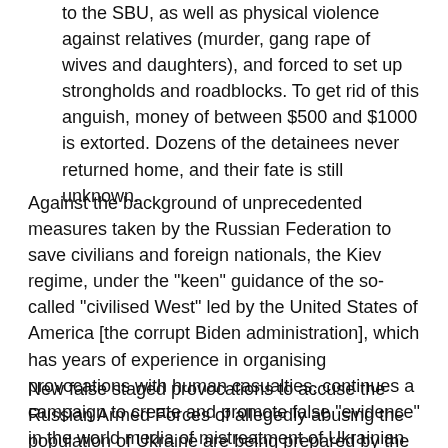to the SBU, as well as physical violence against relatives (murder, gang rape of wives and daughters), and forced to set up strongholds and roadblocks. To get rid of this anguish, money of between $500 and $1000 is extorted. Dozens of the detainees never returned home, and their fate is still unknown.
Against the background of unprecedented measures taken by the Russian Federation to save civilians and foreign nationals, the Kiev regime, under the "keen" guidance of the so-called "civilised West" led by the United States of America [the corrupt Biden administration], which has years of experience in organising provocations with human casualties, continues a campaign to create and promote false "evidence" in the world media of mistreatment of Ukrainian civilians by the Russian army.
New false staged provocations to accuse the Russian Armed Forces of allegedly abusing the population of Ukraine are being prepared by the Kiev regime under the guidance of the